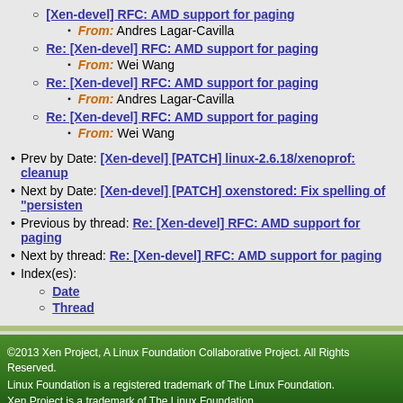[Xen-devel] RFC: AMD support for paging
From: Andres Lagar-Cavilla
Re: [Xen-devel] RFC: AMD support for paging
From: Wei Wang
Re: [Xen-devel] RFC: AMD support for paging
From: Andres Lagar-Cavilla
Re: [Xen-devel] RFC: AMD support for paging
From: Wei Wang
Prev by Date: [Xen-devel] [PATCH] linux-2.6.18/xenoprof: cleanup
Next by Date: [Xen-devel] [PATCH] oxenstored: Fix spelling of "persisten..."
Previous by thread: Re: [Xen-devel] RFC: AMD support for paging
Next by thread: Re: [Xen-devel] RFC: AMD support for paging
Index(es):
Date
Thread
©2013 Xen Project, A Linux Foundation Collaborative Project. All Rights Reserved. Linux Foundation is a registered trademark of The Linux Foundation. Xen Project is a trademark of The Linux Foundation.